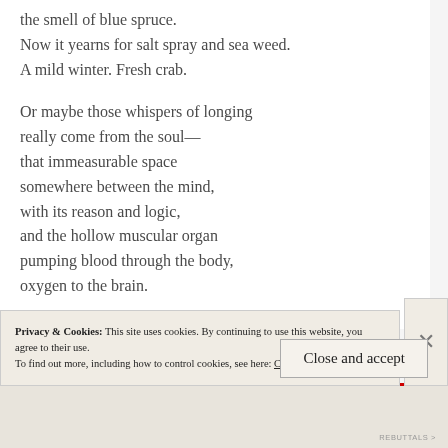the smell of blue spruce.
Now it yearns for salt spray and sea weed.
A mild winter. Fresh crab.
Or maybe those whispers of longing
really come from the soul—
that immeasurable space
somewhere between the mind,
with its reason and logic,
and the hollow muscular organ
pumping blood through the body,
oxygen to the brain.
Privacy & Cookies: This site uses cookies. By continuing to use this website, you agree to their use.
To find out more, including how to control cookies, see here: Cookie Policy
Close and accept